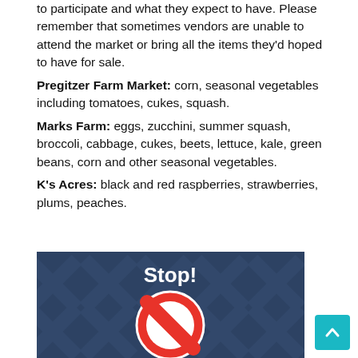to participate and what they expect to have. Please remember that sometimes vendors are unable to attend the market or bring all the items they'd hoped to have for sale.
Pregitzer Farm Market: corn, seasonal vegetables including tomatoes, cukes, squash.
Marks Farm: eggs, zucchini, summer squash, broccoli, cabbage, cukes, beets, lettuce, kale, green beans, corn and other seasonal vegetables.
K's Acres: black and red raspberries, strawberries, plums, peaches.
[Figure (illustration): A dark blue background with a 'Stop!' sign graphic — a red circle with a diagonal bar through it (prohibition symbol), centered on the image. The word 'Stop!' appears in bold white text at the top of the image.]